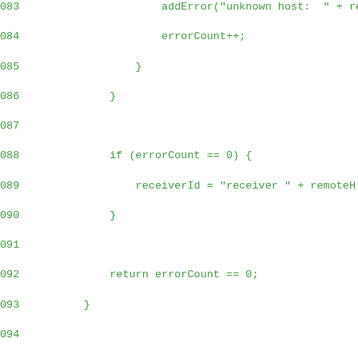[Figure (screenshot): Source code listing in Java showing lines 083-111, displaying methods including error handling, onStop(), and getRunnableTask() with green monospace font on white background.]